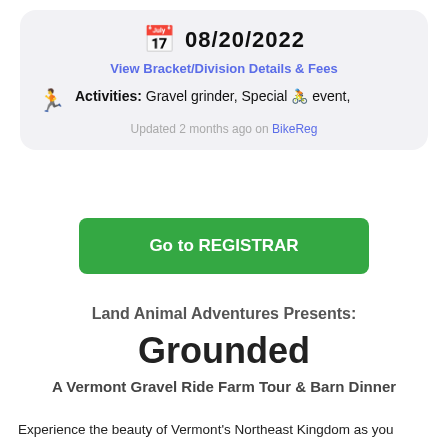08/20/2022
View Bracket/Division Details & Fees
Activities: Gravel grinder, Special event,
Updated 2 months ago on BikeReg
Go to REGISTRAR
Land Animal Adventures Presents:
Grounded
A Vermont Gravel Ride Farm Tour & Barn Dinner
Experience the beauty of Vermont's Northeast Kingdom as you